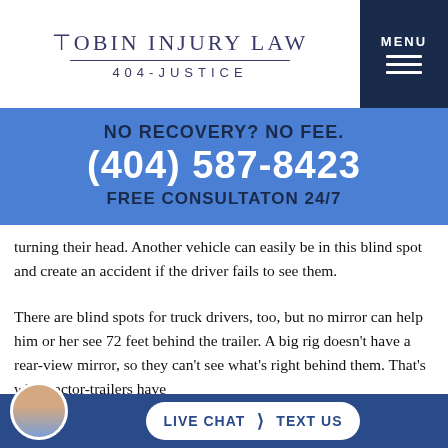TOBIN INJURY LAW 404-JUSTICE | MENU
[Figure (infographic): Blue banner with 'NO RECOVERY? NO FEE.' in dark, phone number (404) 587-8423 in white, and 'FREE CONSULTATON 24/7' in dark]
turning their head. Another vehicle can easily be in this blind spot and create an accident if the driver fails to see them.
There are blind spots for truck drivers, too, but no mirror can help him or her see 72 feet behind the trailer. A big rig doesn't have a rear-view mirror, so they can't see what's right behind them. That's why tractor-trailers have
LIVE CHAT | TEXT US